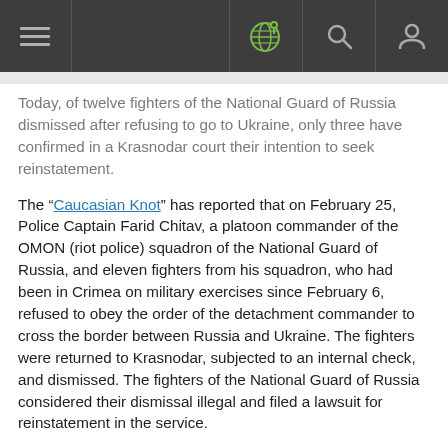[Navigation bar with hamburger menu, globe icon, search icon, user icon]
Today, of twelve fighters of the National Guard of Russia dismissed after refusing to go to Ukraine, only three have confirmed in a Krasnodar court their intention to seek reinstatement.
The “Caucasian Knot” has reported that on February 25, Police Captain Farid Chitav, a platoon commander of the OMON (riot police) squadron of the National Guard of Russia, and eleven fighters from his squadron, who had been in Crimea on military exercises since February 6, refused to obey the order of the detachment commander to cross the border between Russia and Ukraine. The fighters were returned to Krasnodar, subjected to an internal check, and dismissed. The fighters of the National Guard of Russia considered their dismissal illegal and filed a lawsuit for reinstatement in the service.
Today, the Prikubansky District Court has held a preliminary hearing on a lawsuit filed by the fighters of the National Guard of Russia, Krasnodar advocate Mikhail Benyash, who represents the interests of the dismissed fighters, reports on his Telegram channel.